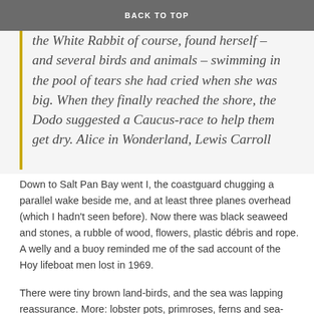BACK TO TOP
the White Rabbit of course, found herself – and several birds and animals – swimming in the pool of tears she had cried when she was big. When they finally reached the shore, the Dodo suggested a Caucus-race to help them get dry. Alice in Wonderland, Lewis Carroll
Down to Salt Pan Bay went I, the coastguard chugging a parallel wake beside me, and at least three planes overhead (which I hadn't seen before). Now there was black seaweed and stones, a rubble of wood, flowers, plastic débris and rope. A welly and a buoy reminded me of the sad account of the Hoy lifeboat men lost in 1969.
There were tiny brown land-birds, and the sea was lapping reassurance. More: lobster pots, primroses, ferns and sea-thrift on the precipitous way down, and a grand jeté from